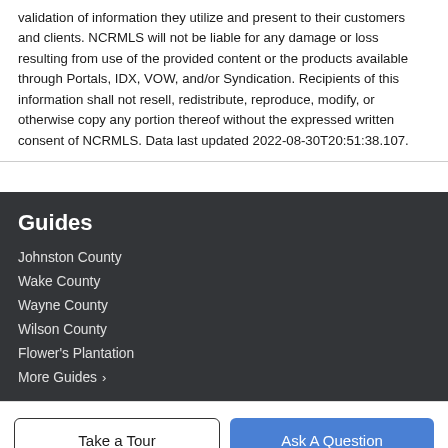validation of information they utilize and present to their customers and clients. NCRMLS will not be liable for any damage or loss resulting from use of the provided content or the products available through Portals, IDX, VOW, and/or Syndication. Recipients of this information shall not resell, redistribute, reproduce, modify, or otherwise copy any portion thereof without the expressed written consent of NCRMLS. Data last updated 2022-08-30T20:51:38.107.
Guides
Johnston County
Wake County
Wayne County
Wilson County
Flower's Plantation
More Guides ›
Take a Tour
Ask A Question